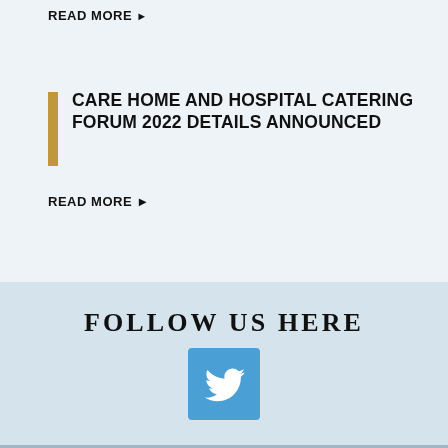READ MORE ▶
CARE HOME AND HOSPITAL CATERING FORUM 2022 DETAILS ANNOUNCED
READ MORE ▶
FOLLOW US HERE
[Figure (logo): Twitter bird logo in white on a blue square background]